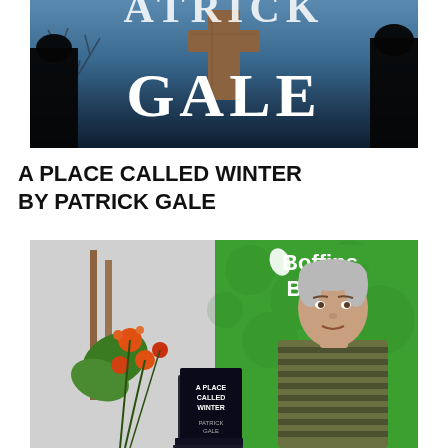[Figure (photo): Book cover image showing 'Patrick Gale' author name in large white serif text on a dark blue background, with a wooden cross silhouette and shadowed figures on the sides]
A PLACE CALLED WINTER BY PATRICK GALE
[Figure (photo): Photo of a man with grey hair wearing a striped olive green t-shirt, seated in front of a green Boffins Books banner (.com.au), with a floral arrangement on the left and a stack of 'A Place Called Winter' by Patrick Gale books in front of him]